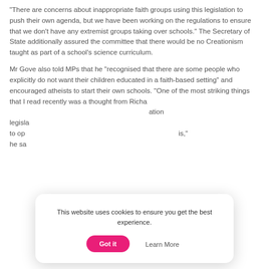“There are concerns about inappropriate faith groups using this legislation to push their own agenda, but we have been working on the regulations to ensure that we don’t have any extremist groups taking over schools.” The Secretary of State additionally assured the committee that there would be no Creationism taught as part of a school’s science curriculum.

Mr Gove also told MPs that he “recognised that there are some people who explicitly do not want their children educated in a faith-based setting” and encouraged atheists to start their own schools. “One of the most striking things that I read recently was a thought from Richa[rd Dawkins, who said he was in favour of free school] [ation]  legisla[tion...] to op[en...] [sis,”] he sa[id.]
This website uses cookies to ensure you get the best experience.
Got it
Learn More